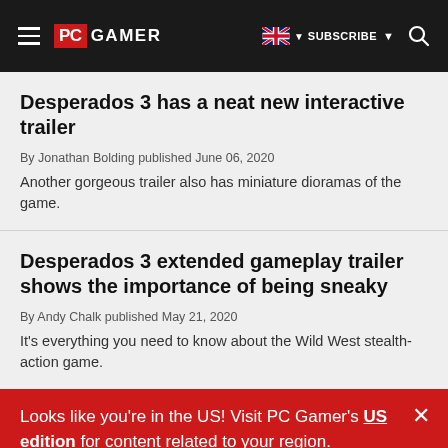PC GAMER | SUBSCRIBE
Desperados 3 has a neat new interactive trailer
By Jonathan Bolding published June 06, 2020
Another gorgeous trailer also has miniature dioramas of the game.
Desperados 3 extended gameplay trailer shows the importance of being sneaky
By Andy Chalk published May 21, 2020
It's everything you need to know about the Wild West stealth-action game.
Looks like you're in the US! Visit PC Gamer's US edition for content related to your region.